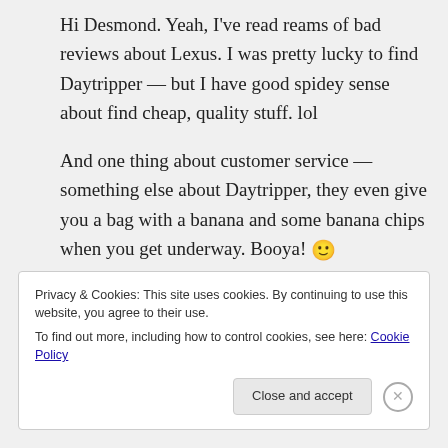Hi Desmond. Yeah, I've read reams of bad reviews about Lexus. I was pretty lucky to find Daytripper — but I have good spidey sense about find cheap, quality stuff. lol
And one thing about customer service — something else about Daytripper, they even give you a bag with a banana and some banana chips when you get underway. Booya! 🙂
Privacy & Cookies: This site uses cookies. By continuing to use this website, you agree to their use.
To find out more, including how to control cookies, see here: Cookie Policy
Close and accept